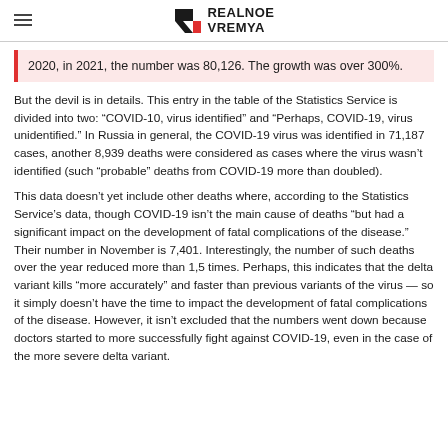REALNOE VREMYA
2020, in 2021, the number was 80,126. The growth was over 300%.
But the devil is in details. This entry in the table of the Statistics Service is divided into two: “COVID-10, virus identified” and “Perhaps, COVID-19, virus unidentified.” In Russia in general, the COVID-19 virus was identified in 71,187 cases, another 8,939 deaths were considered as cases where the virus wasn’t identified (such “probable” deaths from COVID-19 more than doubled).
This data doesn’t yet include other deaths where, according to the Statistics Service’s data, though COVID-19 isn’t the main cause of deaths “but had a significant impact on the development of fatal complications of the disease.” Their number in November is 7,401. Interestingly, the number of such deaths over the year reduced more than 1,5 times. Perhaps, this indicates that the delta variant kills “more accurately” and faster than previous variants of the virus — so it simply doesn’t have the time to impact the development of fatal complications of the disease. However, it isn’t excluded that the numbers went down because doctors started to more successfully fight against COVID-19, even in the case of the more severe delta variant.